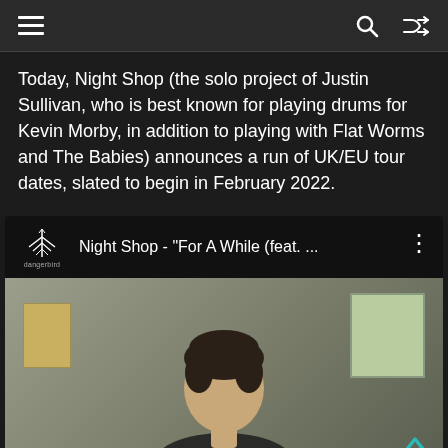Navigation bar with hamburger menu, search icon, and shuffle icon
Today, Night Shop (the solo project of Justin Sullivan, who is best known for playing drums for Kevin Morby, in addition to playing with Flat Worms and The Babies) announces a run of UK/EU tour dates, slated to begin in February 2022.
[Figure (screenshot): YouTube player bar showing Night Shop - "For A While (feat. ..." with Dangerbird Records logo on the left and a three-dot menu on the right, followed by a video thumbnail showing a man with dark hair in a room]
Night Shop - "For A While (feat. ..."